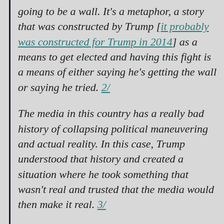going to be a wall. It's a metaphor, a story that was constructed by Trump [it probably was constructed for Trump in 2014] as a means to get elected and having this fight is a means of either saying he's getting the wall or saying he tried. 2/
The media in this country has a really bad history of collapsing political maneuvering and actual reality. In this case, Trump understood that history and created a situation where he took something that wasn't real and trusted that the media would then make it real. 3/